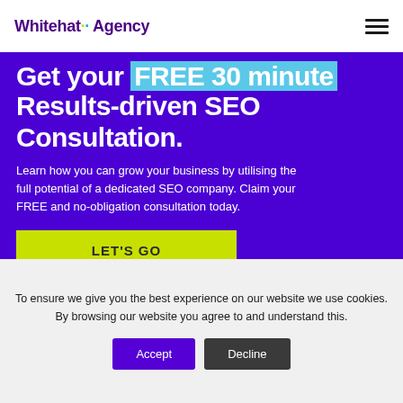Whitehat Agency
Get your FREE 30 minute Results-driven SEO Consultation.
Learn how you can grow your business by utilising the full potential of a dedicated SEO company. Claim your FREE and no-obligation consultation today.
LET'S GO
To ensure we give you the best experience on our website we use cookies. By browsing our website you agree to and understand this.
Accept
Decline